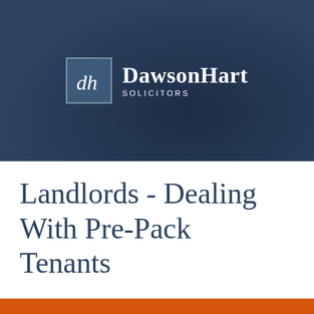[Figure (logo): Dawson Hart Solicitors logo — a square icon with stylized 'dh' initials in italic script on a dark blue background, beside the text 'DawsonHart' in bold serif font with 'SOLICITORS' in small caps beneath, all on a dark blue photographic background.]
Landlords - Dealing With Pre-Pack Tenants